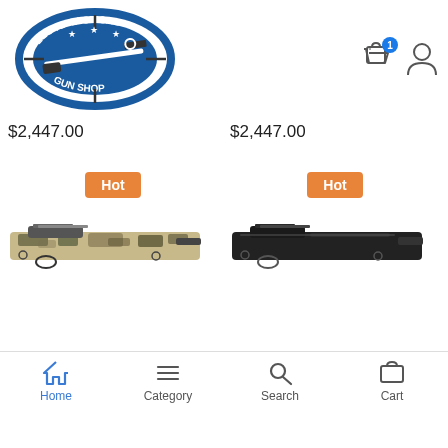[Figure (logo): Lloyd Tactical Gun Shop circular logo with rifle image on blue background]
[Figure (other): Shopping bag icon with blue badge showing '1' and user/profile icon in header]
$2,447.00
$2,447.00
Hot
Hot
[Figure (photo): Rifle with camouflage/beige and dark patterned stock, viewed from left side]
[Figure (photo): Rifle with solid black stock, viewed from left side]
[Figure (other): Bottom navigation bar with Home (active/blue), Category, Search, Cart icons]